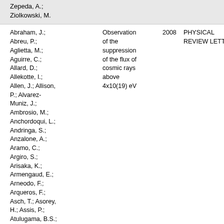Zepeda, A.; Ziolkowski, M.
Abraham, J.; Abreu, P.; Aglietta, M.; Aguirre, C.; Allard, D.; Allekotte, I.; Allen, J.; Allison, P.; Alvarez-Muniz, J.; Ambrosio, M.; Anchordoqui, L.; Andringa, S.; Anzalone, A.; Aramo, C.; Argiro, S.; Arisaka, K.; Armengaud, E.; Arneodo, F.; Arqueros, F.; Asch, T.; Asorey, H.; Assis, P.; Atulugama, B.S.; Aublin, J.; Ave, M.; Avila, G.; Backer, T.; Badagnani, D.; Barbosa, A.F.; Barnhill, D.; Barroso, S.L.C.; Baughman, B.; Bauleo, P.; Beatty, J.J.; Beau, T.; Becker, B.R.; Becker, K.H.; Bellido,
Observation of the suppression of the flux of cosmic rays above 4x10(19) eV
2008
PHYSICAL REVIEW LETTERS
101